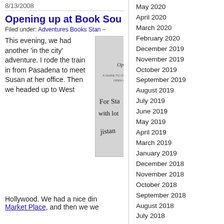8/13/2008
Opening up at Book Sou…
Filed under: Adventures Books Stan –
This evening, we had another 'in the city' adventure. I rode the train in from Pasadena to meet Susan at her office. Then we headed up to West
[Figure (photo): Photo of a book spine/cover showing partial text 'Openi', 'A GUIDE TO CREAT', 'OPEN RELA', with a handwritten inscription 'For Sta with lot' and a signature 'jistan']
Hollywood. We had a nice din
Market Place, and then we we…
May 2020
April 2020
March 2020
February 2020
December 2019
November 2019
October 2019
September 2019
August 2019
July 2019
June 2019
May 2019
April 2019
March 2019
January 2019
December 2018
November 2018
October 2018
September 2018
August 2018
July 2018
June 2018
May 2018
April 2018
March 2018
February 2018
January 2018
December 2017
November 2017
October 2017
September 2017
August 2017